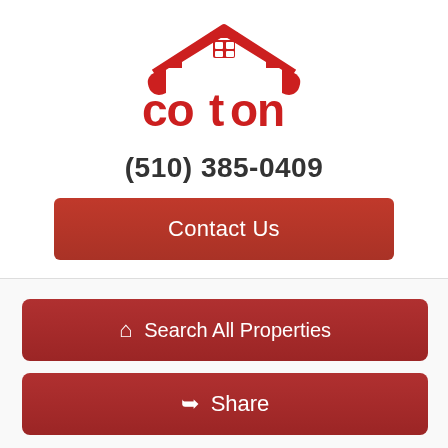[Figure (logo): Cotton real estate company logo with red house/roof above the word 'cotton' in red letters]
(510) 385-0409
Contact Us
Search All Properties
Share
Additional Information